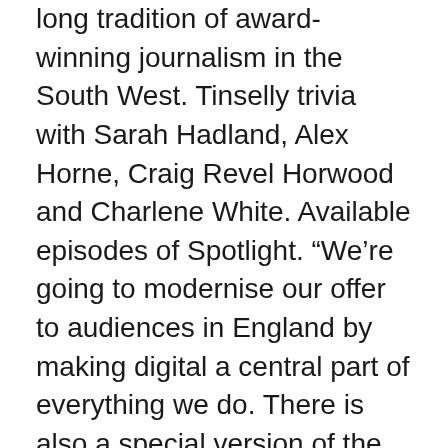long tradition of award-winning journalism in the South West. Tinselly trivia with Sarah Hadland, Alex Horne, Craig Revel Horwood and Charlene White. Available episodes of Spotlight. “We’re going to modernise our offer to audiences in England by making digital a central part of everything we do. There is also a special version of the programme for viewers in the Channel Islands. Read about our approach to external linking. He became the main presenter in 2001. The 6:30pm bulletins on BBC One will have one presenter, so the bulletins are consistent across England and in line with the rest of BBC News. Tess, Claudia and friends present a bumper box of the best ever Strictly dances. BBC Spotlight is the most watched TV programme in the South West of England. Can Pearl change the King’s mind about what it means to be a princess? 210K likes. 212K likes. Commissioning a broader range of TV programming